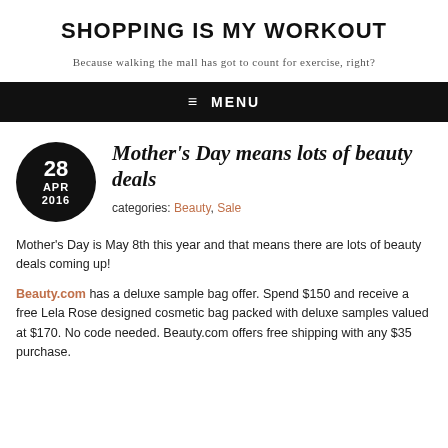SHOPPING IS MY WORKOUT
Because walking the mall has got to count for exercise, right?
≡ MENU
Mother's Day means lots of beauty deals
categories: Beauty, Sale
Mother's Day is May 8th this year and that means there are lots of beauty deals coming up!
Beauty.com has a deluxe sample bag offer. Spend $150 and receive a free Lela Rose designed cosmetic bag packed with deluxe samples valued at $170. No code needed. Beauty.com offers free shipping with any $35 purchase.